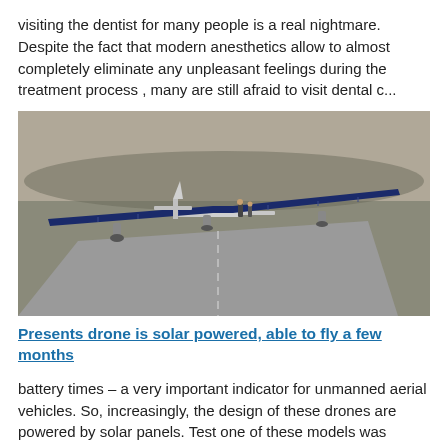visiting the dentist for many people is a real nightmare. Despite the fact that modern anesthetics allow to almost completely eliminate any unpleasant feelings during the treatment process , many are still afraid to visit dental c...
[Figure (photo): Aerial photo of a large solar-powered drone with very wide wings on a runway, with people standing near it.]
Presents drone is solar powered, able to fly a few months
battery times – a very important indicator for unmanned aerial vehicles. So, increasingly, the design of these drones are powered by solar panels. Test one of these models was recently conducted by specialists of the Chinese Acade...